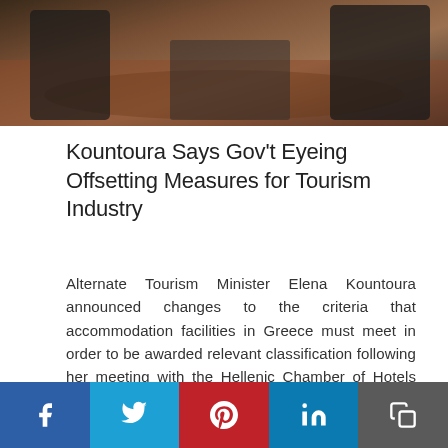[Figure (photo): People seated on red patterned carpet/floor, legs and shoes visible, formal attire]
Kountoura Says Gov't Eyeing Offsetting Measures for Tourism Industry
Alternate Tourism Minister Elena Kountoura announced changes to the criteria that accommodation facilities in Greece must meet in order to be awarded relevant classification following her meeting with the Hellenic Chamber of Hotels (HCH) in Thessaloniki, last week.
Posted On 16 Nov 2015, By GTP editing team
[Figure (photo): Night scene with orange globe lights and a blue glass modern building facade]
f  t  p  in  copy